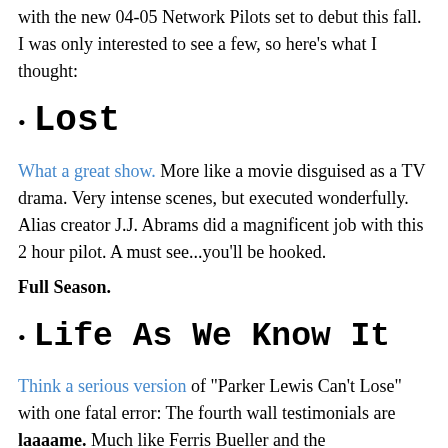with the new 04-05 Network Pilots set to debut this fall. I was only interested to see a few, so here's what I thought:
Lost
What a great show. More like a movie disguised as a TV drama. Very intense scenes, but executed wonderfully. Alias creator J.J. Abrams did a magnificent job with this 2 hour pilot. A must see...you'll be hooked.
Full Season.
Life As We Know It
Think a serious version of "Parker Lewis Can't Lose" with one fatal error: The fourth wall testimonials are laaaame. Much like Ferris Bueller and the aforementioned Parker, you have to step up the writing in the asides. Challenge the viewer. Witty and Clever is what the kids want. The writing displayed here insults the audience's intelligence. If this isn't